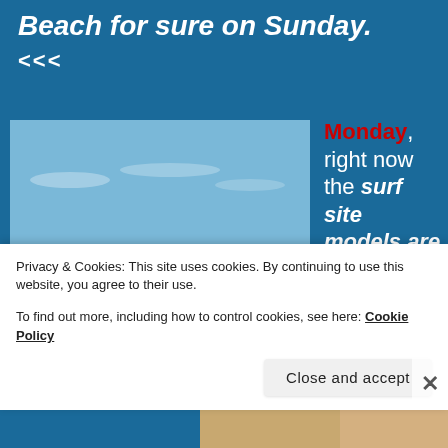Beach for sure on Sunday.
<<<
[Figure (photo): Photo of a beach surf scene with waves and a surfer in the water, blue sky above]
Monday, right now the surf site models are
Privacy & Cookies: This site uses cookies. By continuing to use this website, you agree to their use.
To find out more, including how to control cookies, see here: Cookie Policy
Close and accept